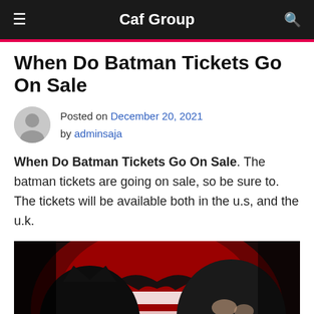Caf Group
When Do Batman Tickets Go On Sale
Posted on December 20, 2021 by adminsaja
When Do Batman Tickets Go On Sale. The batman tickets are going on sale, so be sure to. The tickets will be available both in the u.s, and the u.k.
[Figure (photo): Movie poster / promotional image showing Batman and Superman facing each other in silhouette, against a red background with the Batman and Superman logos.]